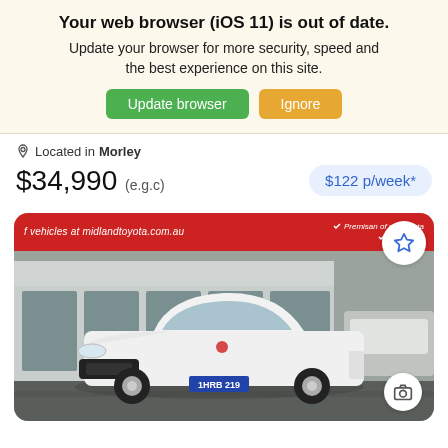Your web browser (iOS 11) is out of date.
Update your browser for more security, speed and the best experience on this site.
Update browser | Ignore
Located in Morley
$34,990 (e.g.c)
$122 p/week*
[Figure (photo): White Toyota Corolla hatchback parked in front of a Toyota dealership with red signage reading 'midlandtoyota.com.au'. Plate number 1HRB 219. Wet ground, other vehicles visible to the right.]